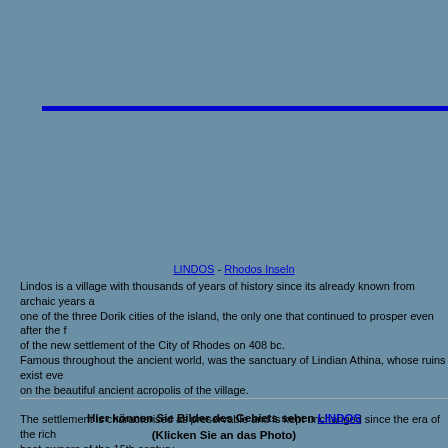[Figure (other): Blue horizontal bar on steel-blue background]
LINDOS - Rhodos Inseln
Lindos is a village with thousands of years of history since its already known from archaic years as one of the three Dorik cities of the island, the only one that continued to prosper even after the founding of the new settlement of the City of Rhodes on 408 bc.
Famous throughout the ancient world, was the sanctuary of Lindian Athina, whose ruins exist even today on the beautiful ancient acropolis of the village.

The settlement is characterised as preservable and is kept unchanged since the era of the rich boat owners of the 15th century.
The residents due to the unfertile land, from the ancient times were concentrated on the sea, as great sea masters. Now the main occupation is tourism.
Hier können Sie Bilder des Gebiets sehen LINDOS (Klicken Sie an das Photo) (The photos are property of www.greecephotobank.com)